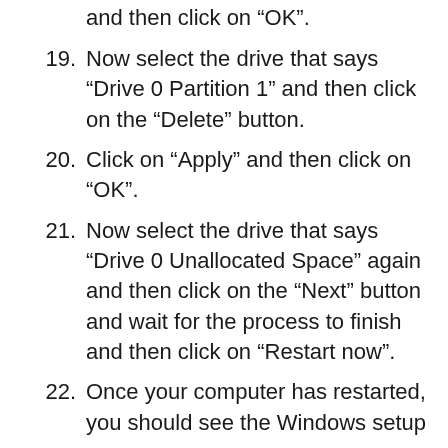appear on your screen. Select the one that says “Drive 0 Unallocated Space” and then click on the “New” button and then click on “Apply” and then click on “OK”.
19. Now select the drive that says “Drive 0 Partition 1” and then click on the “Delete” button.
20. Click on “Apply” and then click on “OK”.
21. Now select the drive that says “Drive 0 Unallocated Space” again and then click on the “Next” button and wait for the process to finish and then click on “Restart now”.
22. Once your computer has restarted, you should see the Windows setup screen appear on your screen again.